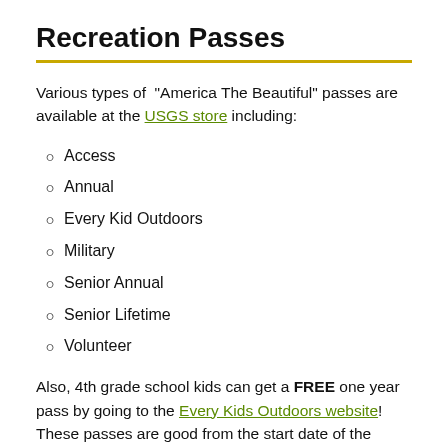Recreation Passes
Various types of "America The Beautiful" passes are available at the USGS store including:
Access
Annual
Every Kid Outdoors
Military
Senior Annual
Senior Lifetime
Volunteer
Also, 4th grade school kids can get a FREE one year pass by going to the Every Kids Outdoors website! These passes are good from the start date of the Every Kid Outdoors release (usually